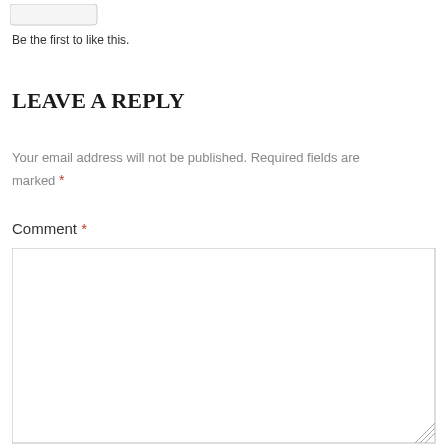[Figure (other): A small rounded button/widget (like button placeholder)]
Be the first to like this.
LEAVE A REPLY
Your email address will not be published. Required fields are marked *
Comment *
[Figure (other): Large empty comment text area input box]